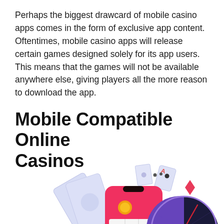Perhaps the biggest drawcard of mobile casino apps comes in the form of exclusive app content. Oftentimes, mobile casino apps will release certain games designed solely for its app users. This means that the games will not be available anywhere else, giving players all the more reason to download the app.
Mobile Compatible Online Casinos
[Figure (illustration): Illustration showing a smartphone displaying 777 slot machine with casino cards, diamond shapes, and a spinning prize wheel with purple, dark blue, and green segments.]